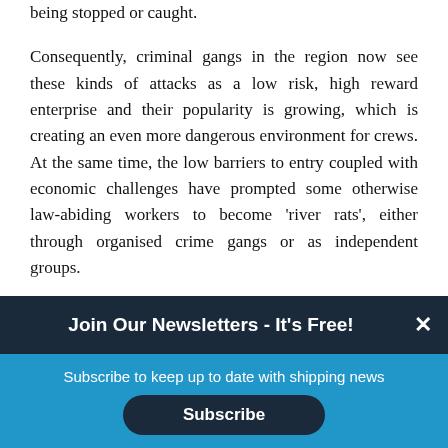being stopped or caught.
Consequently, criminal gangs in the region now see these kinds of attacks as a low risk, high reward enterprise and their popularity is growing, which is creating an even more dangerous environment for crews. At the same time, the low barriers to entry coupled with economic challenges have prompted some otherwise law-abiding workers to become 'river rats', either through organised crime gangs or as independent groups.
Join Our Newsletters - It's Free!
Subscribe to keep up to date with shipping news
Subscribe